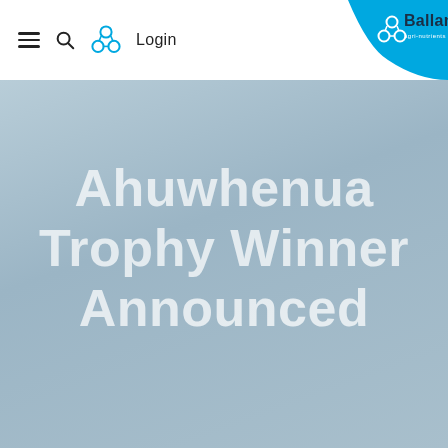Login | Ballance
Ahuwhenua Trophy Winner Announced